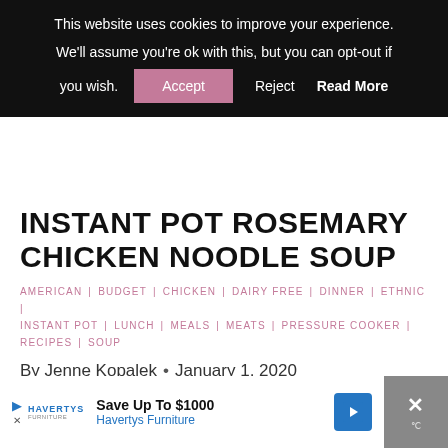This website uses cookies to improve your experience. We'll assume you're ok with this, but you can opt-out if you wish. Accept  Reject  Read More
INSTANT POT ROSEMARY CHICKEN NOODLE SOUP
AMERICAN | BUDGET | CHICKEN | DAIRY FREE | DINNER | ETHNIC | INSTANT POT | LUNCH | MEALS | MEATS | PRESSURE COOKER | RECIPES | SOUP
By Jenne Kopalek • January 1, 2020
This post may contain affiliate links. Please read my privacy policy.